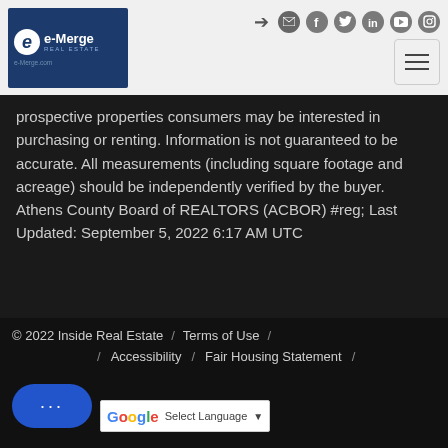[Figure (logo): e-Merge Real Estate logo with blue background, white e-circle and text, e-Merge.com URL]
prospective properties consumers may be interested in purchasing or renting. Information is not guaranteed to be accurate. All measurements (including square footage and acreage) should be independently verified by the buyer. Athens County Board of REALTORS (ACBOR) #reg; Last Updated: September 5, 2022 6:17 AM UTC
© 2022 Inside Real Estate / Terms of Use / Accessibility / Fair Housing Statement / Select Language